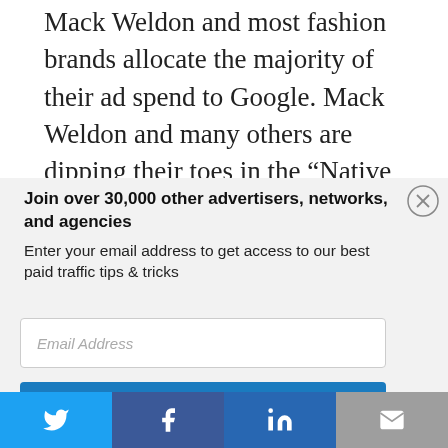Mack Weldon and most fashion brands allocate the majority of their ad spend to Google. Mack Weldon and many others are dipping their toes in the “Native Ad waters” by running small campaigns on Outbrain and Taboola,
Join over 30,000 other advertisers, networks, and agencies
Enter your email address to get access to our best paid traffic tips & tricks
[Figure (screenshot): Email signup modal with input field labeled 'Email Address' and a blue 'Send me tips!' button]
[Figure (infographic): Social share bar with Twitter (blue), Facebook (dark blue), LinkedIn (blue), and email (gray) icons]